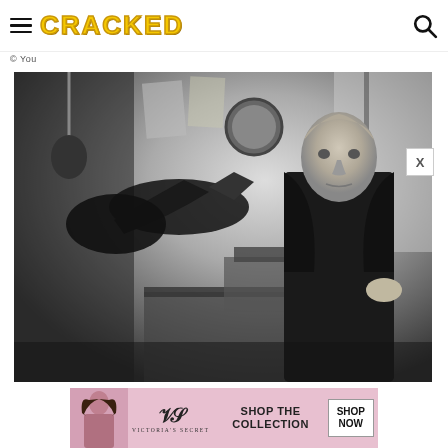CRACKED
© You
[Figure (photo): Black and white historical photograph of a man in a long dark coat standing in a room with an early phonograph/gramophone with a large horn on the left side. The man has his hand on his hip and is looking at the camera. Various equipment and papers are visible in the background.]
[Figure (photo): Victoria's Secret advertisement banner showing a woman model on the left, the Victoria's Secret logo with a stylized V and S, and text reading 'SHOP THE COLLECTION' with a 'SHOP NOW' button on the right.]